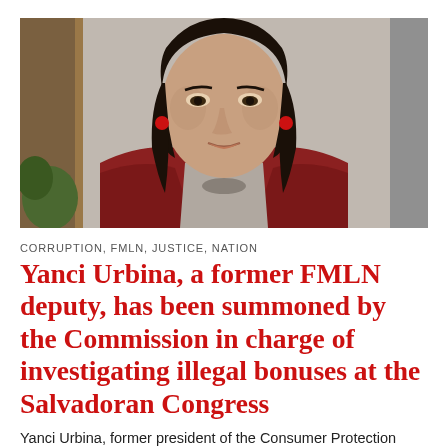[Figure (photo): Portrait photo of Yanci Urbina, a woman with dark hair wearing a red blazer and red earrings, photographed indoors against a neutral background.]
CORRUPTION, FMLN, JUSTICE, NATION
Yanci Urbina, a former FMLN deputy, has been summoned by the Commission in charge of investigating illegal bonuses at the Salvadoran Congress
Yanci Urbina, former president of the Consumer Protection Office in the governments of Mauricio Funes